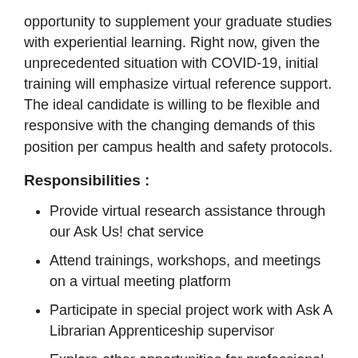opportunity to supplement your graduate studies with experiential learning. Right now, given the unprecedented situation with COVID-19, initial training will emphasize virtual reference support. The ideal candidate is willing to be flexible and responsive with the changing demands of this position per campus health and safety protocols.
Responsibilities :
Provide virtual research assistance through our Ask Us! chat service
Attend trainings, workshops, and meetings on a virtual meeting platform
Participate in special project work with Ask A Librarian Apprenticeship supervisor
Explore other opportunities for professional development based on interest